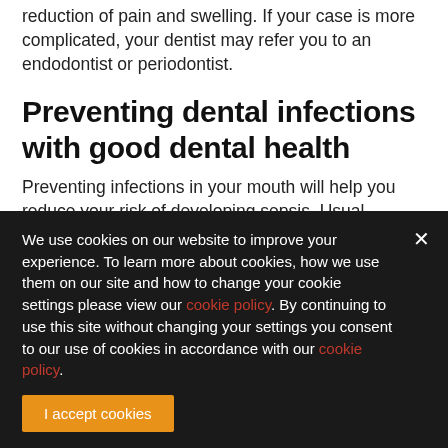reduction of pain and swelling. If your case is more complicated, your dentist may refer you to an endodontist or periodontist.
Preventing dental infections with good dental health
Preventing infections in your mouth will help you reduce your risk of developing sepsis. Usual recommendations are to visit your dentist twice a year for up-to-date x-rays, exams, and dental cleanings.
We use cookies on our website to improve your experience. To learn more about cookies, how we use them on our site and how to change your cookie settings please view our cookie policy. By continuing to use this site without changing your settings you consent to our use of cookies in accordance with our cookie policy.
I accept cookies